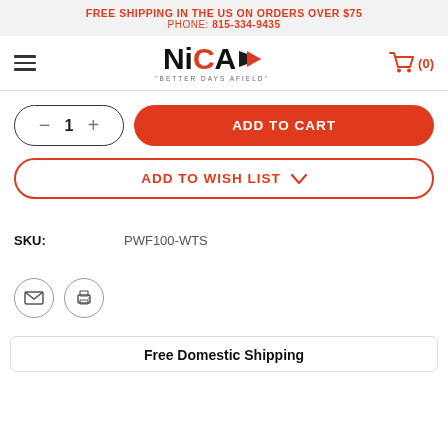FREE SHIPPING IN THE US ON ORDERS OVER $75
PHONE: 815-334-9435
[Figure (logo): NiCA logo with red arrow and tagline 'Better Days Afield']
— 1 +  ADD TO CART
ADD TO WISH LIST
SKU: PWF100-WTS
[Figure (illustration): Email and print icon buttons]
Free Domestic Shipping